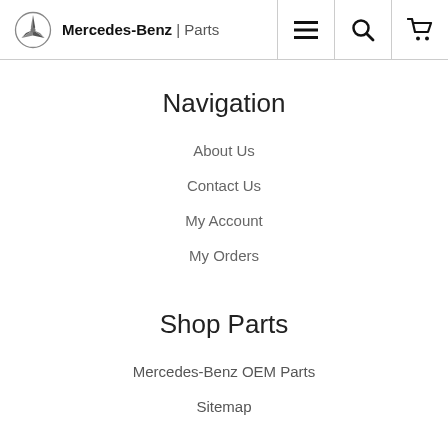Mercedes-Benz | Parts
Navigation
About Us
Contact Us
My Account
My Orders
Shop Parts
Mercedes-Benz OEM Parts
Sitemap